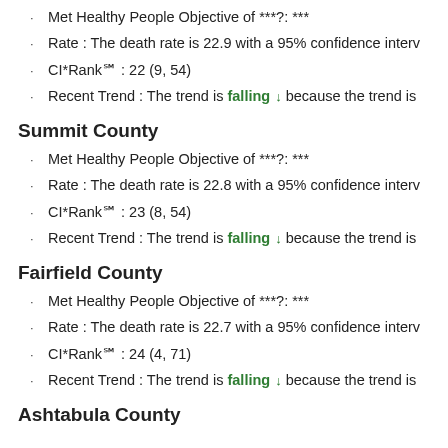Met Healthy People Objective of ***?: ***
Rate : The death rate is 22.9 with a 95% confidence interv…
CI*Rank⋕ : 22 (9, 54)
Recent Trend : The trend is falling ↓ because the trend is…
Summit County
Met Healthy People Objective of ***?: ***
Rate : The death rate is 22.8 with a 95% confidence interv…
CI*Rank⋕ : 23 (8, 54)
Recent Trend : The trend is falling ↓ because the trend is…
Fairfield County
Met Healthy People Objective of ***?: ***
Rate : The death rate is 22.7 with a 95% confidence interv…
CI*Rank⋕ : 24 (4, 71)
Recent Trend : The trend is falling ↓ because the trend is…
Ashtabula County